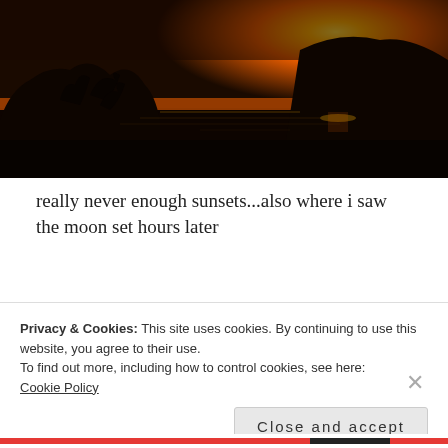[Figure (photo): Sunset over water and hillside silhouette, dark landscape with orange and yellow sky and sun on horizon]
really never enough sunsets...also where i saw the moon set hours later
i feel like i should mention that i haven't
Privacy & Cookies: This site uses cookies. By continuing to use this website, you agree to their use.
To find out more, including how to control cookies, see here:
Cookie Policy
Close and accept